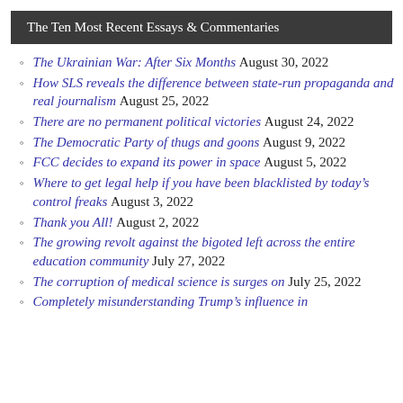The Ten Most Recent Essays & Commentaries
The Ukrainian War: After Six Months August 30, 2022
How SLS reveals the difference between state-run propaganda and real journalism August 25, 2022
There are no permanent political victories August 24, 2022
The Democratic Party of thugs and goons August 9, 2022
FCC decides to expand its power in space August 5, 2022
Where to get legal help if you have been blacklisted by today's control freaks August 3, 2022
Thank you All! August 2, 2022
The growing revolt against the bigoted left across the entire education community July 27, 2022
The corruption of medical science is surges on July 25, 2022
Completely misunderstanding Trump's influence in